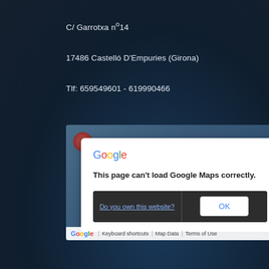C/ Garrotxa nº14
17486 Castelló D'Empuries (Girona)
Tlf: 659549601 - 619990466
[Figure (screenshot): Google Maps error dialog over a map background. Dialog shows Google logo, message 'This page can't load Google Maps correctly.' with buttons 'Do you own this website?' and 'OK'. Map footer shows Google logo, Keyboard shortcuts, Map Data, Terms of Use.]